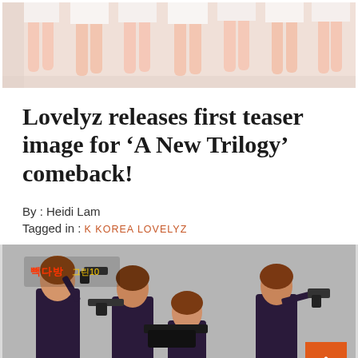[Figure (photo): Top portion showing the legs of multiple women in white dresses standing together in a promotional photo for Lovelyz]
Lovelyz releases first teaser image for ‘A New Trilogy’ comeback!
By : Heidi Lam
Tagged in : K KOREA LOVELYZ
[Figure (photo): Lovelyz members dressed in dark uniforms holding guns in a teaser image for 'A New Trilogy' comeback, with Korean text logo in upper left corner. An orange scroll-to-top button is visible in the lower right.]